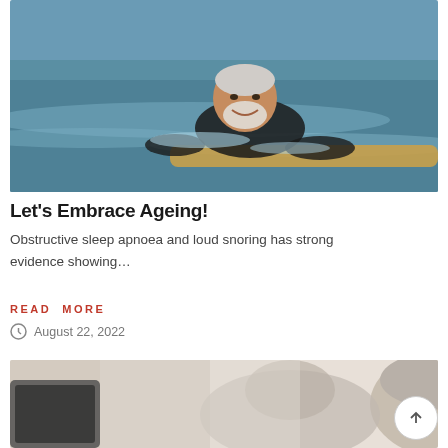[Figure (photo): Older man with white beard smiling while swimming in the ocean, holding onto a surfboard, wearing a black wetsuit]
Let's Embrace Ageing!
Obstructive sleep apnoea and loud snoring has strong evidence showing...
READ MORE
August 22, 2022
[Figure (photo): Elderly person with grey hair seen from behind, partial view of another person, indoor setting]